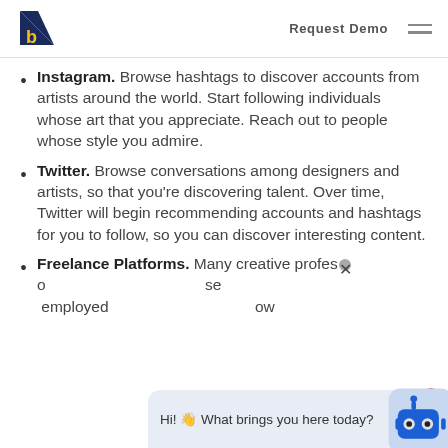Request Demo
Instagram. Browse hashtags to discover accounts from artists around the world. Start following individuals whose art that you appreciate. Reach out to people whose style you admire.
Twitter. Browse conversations among designers and artists, so that you're discovering talent. Over time, Twitter will begin recommending accounts and hashtags for you to follow, so you can discover interesting content.
Freelance Platforms. Many creative professionals use these platforms. se employed g ow